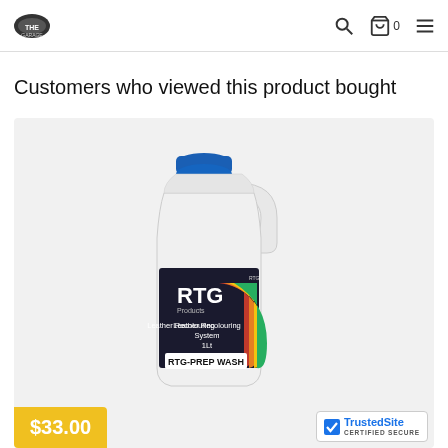The Garage - navigation header with logo, search, cart (0), menu
Customers who viewed this product bought
[Figure (photo): RTG Products Leather Recolouring System 1L RTG-PREP WASH product bottle with blue cap and colorful label on a light grey background]
$33.00
TrustedSite CERTIFIED SECURE